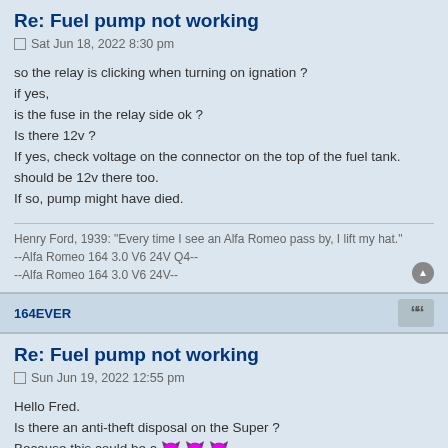Re: Fuel pump not working
Sat Jun 18, 2022 8:30 pm
so the relay is clicking when turning on ignation ?
if yes,
is the fuse in the relay side ok ?
Is there 12v ?
If yes, check voltage on the connector on the top of the fuel tank. should be 12v there too.
If so, pump might have died.
Henry Ford, 1939: "Every time I see an Alfa Romeo pass by, I lift my hat."
--Alfa Romeo 164 3.0 V6 24V Q4--
--Alfa Romeo 164 3.0 V6 24V--
164EVER
Re: Fuel pump not working
Sun Jun 19, 2022 12:55 pm
Hello Fred.
Is there an anti-theft disposal on the Super ?
Because this could be a 😈😈😈